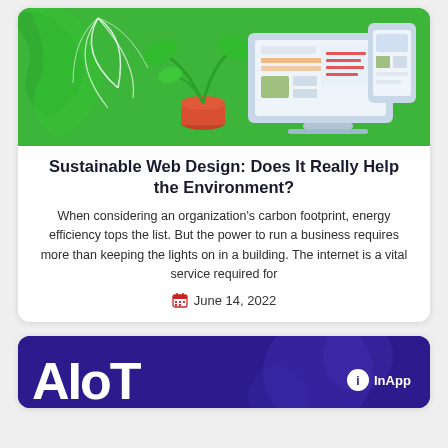[Figure (illustration): Green background illustration showing a laptop/desktop computer with a dashboard UI and a potted plant with tropical leaves]
Sustainable Web Design: Does It Really Help the Environment?
When considering an organization's carbon footprint, energy efficiency tops the list. But the power to run a business requires more than keeping the lights on in a building. The internet is a vital service required for
June 14, 2022
[Figure (illustration): Dark purple/indigo background with large white bold text 'AIoT' on the left and InApp logo on the right]